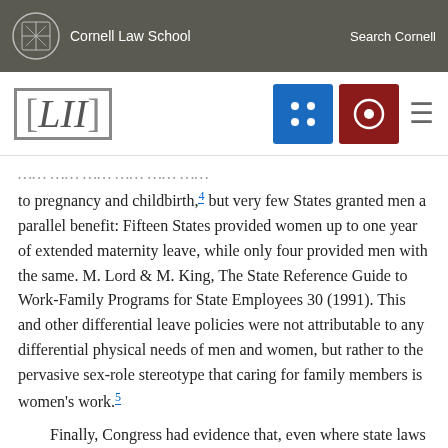Cornell Law School   Search Cornell
[Figure (logo): Cornell Law School / LII navigation header with logo, grid icon, search icon, and hamburger menu]
to pregnancy and childbirth,4 but very few States granted men a parallel benefit: Fifteen States provided women up to one year of extended maternity leave, while only four provided men with the same. M. Lord & M. King, The State Reference Guide to Work-Family Programs for State Employees 30 (1991). This and other differential leave policies were not attributable to any differential physical needs of men and women, but rather to the pervasive sex-role stereotype that caring for family members is women’s work.5
Finally, Congress had evidence that, even where state laws and policies were not facially discriminatory, they were applied discriminatorily